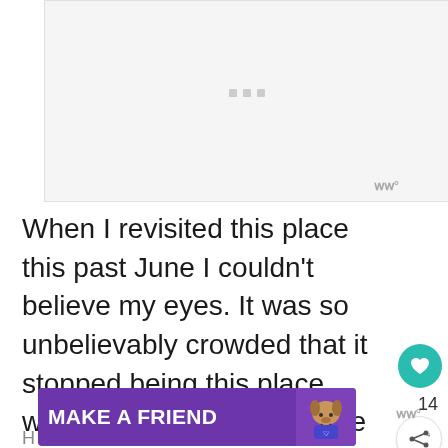[Figure (photo): Image placeholder with loading dots on a light gray background, with a watermark symbol in the bottom right corner]
When I revisited this place this past June I couldn't believe my eyes. It was so unbelievably crowded that it stopped being this place where you just go to admire the panorama of the city.
[Figure (screenshot): Advertisement banner: MAKE A FRIEND with a dog image, purple background, close button, and heart icon]